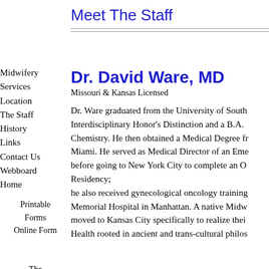Meet The Staff
Midwifery
Services
Location
The Staff
History
Links
Contact Us
Webboard
Home
Printable Forms
Online Form
The Newsletter
Questions (General)
Questions (Daddy's)
References
Dr. David Ware, MD
Missouri & Kansas Licensed
Dr. Ware graduated from the University of South Interdisciplinary Honor's Distinction and a B.A. Chemistry. He then obtained a Medical Degree fr Miami. He served as Medical Director of an Eme before going to New York City to complete an O Residency; he also received gynecological oncology training Memorial Hospital in Manhattan. A native Midw moved to Kansas City specifically to realize thei Health rooted in ancient and trans-cultural philos